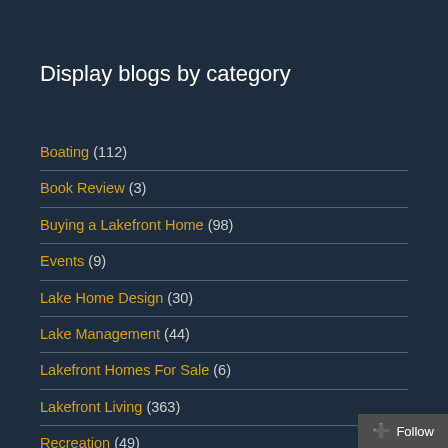Display blogs by category
Boating (112)
Book Review (3)
Buying a Lakefront Home (98)
Events (9)
Lake Home Design (30)
Lake Management (44)
Lakefront Homes For Sale (6)
Lakefront Living (363)
Recreation (49)
Selling a Lakefront Home (28)